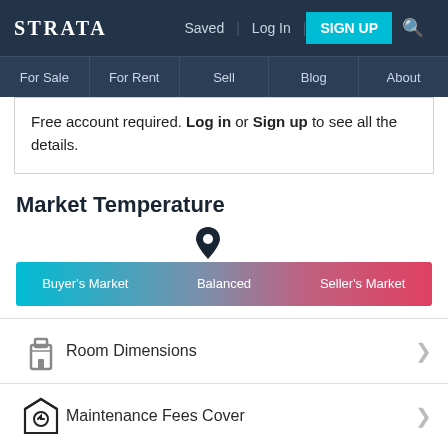STRATA  |  Saved  |  Log In  |  SIGN UP  |  Search
For Sale | For Rent | Sell | Blog | About
Free account required. Log in or Sign up to see all the details.
Market Temperature
[Figure (infographic): Market temperature gradient bar with pin indicator showing position near center-left. Bar shows Buyer's Market on left (cyan), Balanced in center (purple), Seller's Market on right (pink/red).]
Room Dimensions
Maintenance Fees Cover
Amenities